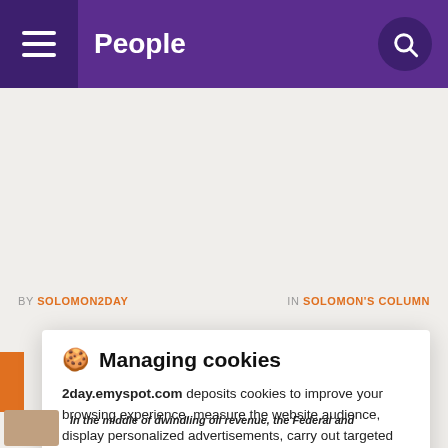People
BY SOLOMON2DAY   IN SOLOMON'S COLUMN
Managing cookies
2day.emyspot.com deposits cookies to improve your browsing experience, measure the website audience, display personalized advertisements, carry out targeted campaigns and personalize the site interface.
Consult the privacy policy
REFUSE   SETTINGS   ACCEPT
In the middle of dwindling oil revenue, the Federal and